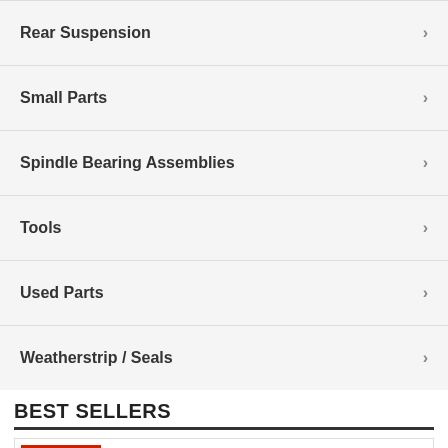Rear Suspension
Small Parts
Spindle Bearing Assemblies
Tools
Used Parts
Weatherstrip / Seals
BEST SELLERS
[Figure (photo): Product image showing 1953-1982 Corvette Universal MM1 Aero Rivet-II Tool on red background]
$ 97.99
1953 - 1982 Corvette Universal MM1 Aero Rivet-II Tool / Product Number: T113
MADE IN USA | Universal Semi Tubular Rivet